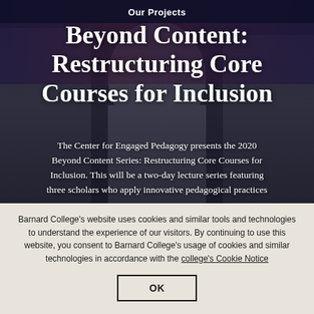Our Projects
[Figure (photo): Black and white photo of three scholars/professors, overlaid with dark purple-blue gradient and large white title text. Center person faces forward, one on left smiles, one on right wears glasses.]
Beyond Content: Restructuring Core Courses for Inclusion
The Center for Engaged Pedagogy presents the 2020 Beyond Content Series: Restructuring Core Courses for Inclusion. This will be a two-day lecture series featuring three scholars who apply innovative pedagogical practices
Barnard College's website uses cookies and similar tools and technologies to understand the experience of our visitors. By continuing to use this website, you consent to Barnard College's usage of cookies and similar technologies in accordance with the college's Cookie Notice
OK